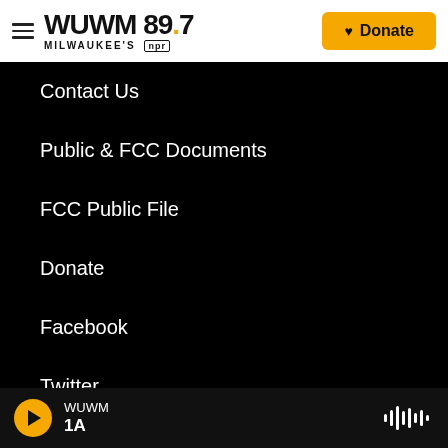WUWM 89.7 MILWAUKEE'S NPR — Donate
Contact Us
Public & FCC Documents
FCC Public File
Donate
Facebook
Twitter
Instagram
WUWM 1A